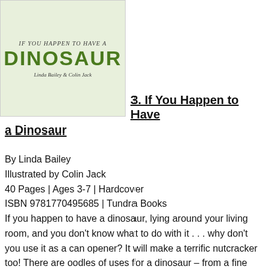[Figure (illustration): Book cover of 'If You Happen to Have a Dinosaur' by Linda Bailey & Colin Jack. Green background with large stylized green letters spelling DINOSAUR and smaller serif text above.]
3. If You Happen to Have a Dinosaur
By Linda Bailey
Illustrated by Colin Jack
40 Pages | Ages 3-7 | Hardcover
ISBN 9781770495685 | Tundra Books
If you happen to have a dinosaur, lying around your living room, and you don't know what to do with it . . . why don't you use it as a can opener? It will make a terrific nutcracker too! There are oodles of uses for a dinosaur – from a fine umbrella to an excellent kite and a dandy pillow, not to mention a reliable burglar alarm and the perfect excuse to forget your homework. This delightfully absurd exploration of the domestic uses of dinosaurs – and the things dinos just aren't good for at all